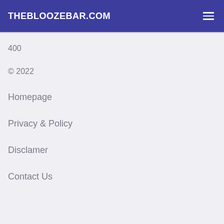THEBLOOZEBAR.COM
400
© 2022
Homepage
Privacy & Policy
Disclamer
Contact Us